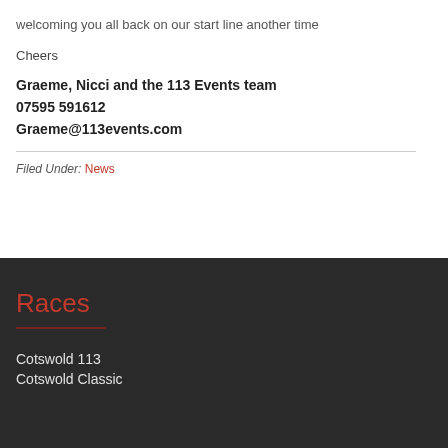welcoming you all back on our start line another time
Cheers
Graeme, Nicci and the 113 Events team
07595 591612
Graeme@113events.com
Filed Under: News
Races
Cotswold 113
Cotswold Classic